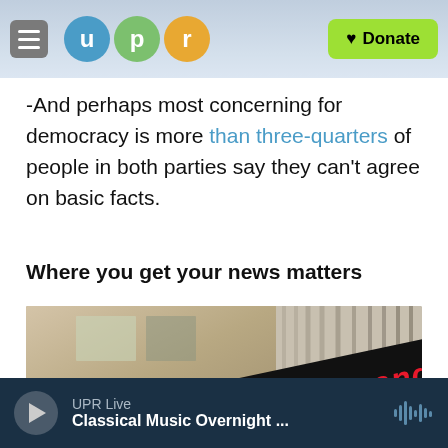UPR — Donate
-And perhaps most concerning for democracy is more than three-quarters of people in both parties say they can't agree on basic facts.
Where you get your news matters
[Figure (photo): A building exterior with a large LED ticker band displaying 'the fake news media and Trum...' in red text on a dark background, viewed from a low angle.]
UPR Live — Classical Music Overnight ...